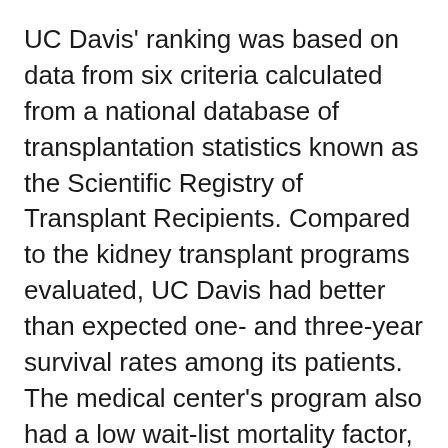UC Davis' ranking was based on data from six criteria calculated from a national database of transplantation statistics known as the Scientific Registry of Transplant Recipients. Compared to the kidney transplant programs evaluated, UC Davis had better than expected one- and three-year survival rates among its patients. The medical center's program also had a low wait-list mortality factor, which tracks patient deaths while awaiting transplantation.
‘The numbers tell the story and reflect the